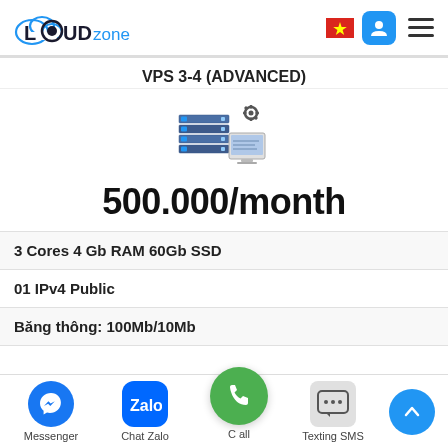[Figure (logo): LOUDzone cloud hosting company logo with cloud outline and bold text]
VPS 3-4 (ADVANCED)
[Figure (illustration): Server rack with gear/cog icon and monitor - VPS server illustration]
500.000/month
3 Cores 4 Gb RAM 60Gb SSD
01 IPv4 Public
Băng thông: 100Mb/10Mb
Messenger  Chat Zalo  Call  Texting SMS